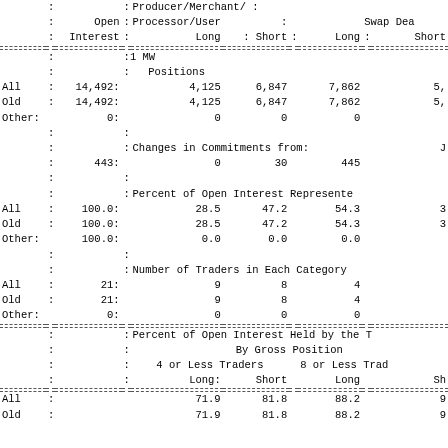|  | : | Open Interest | : | Producer/Merchant/Processor/User Long | Short | : | Long | : | Short (Swap Dea...) |
| --- | --- | --- | --- | --- | --- | --- | --- | --- | --- |
|  | : |  | : | Producer/Merchant/ | : |  |  | Swap Dea... |
|  | : | Open | : | Processor/User | : |  |  |  |
|  | : | Interest | : | Long | : | Short | : | Long | : | Short |
| ---dashed--- |
|  | : |  | :1 MW |
|  | : |  | : | Positions |
| All | : | 14,492 | : | 4,125 | 6,847 | 7,862 | 5,... |
| Old | : | 14,492 | : | 4,125 | 6,847 | 7,862 | 5,... |
| Other | : | 0 | : | 0 | 0 | 0 |
|  | : |  | : |
|  | : |  | : | Changes in Commitments from: | J... |
|  | : | 443 | : | 0 | 30 | 445 |
|  | : |  | : |
|  | : |  | : | Percent of Open Interest Represented... |
| All | : | 100.0 | : | 28.5 | 47.2 | 54.3 | 3... |
| Old | : | 100.0 | : | 28.5 | 47.2 | 54.3 | 3... |
| Other | : | 100.0 | : | 0.0 | 0.0 | 0.0 |
|  | : |  | : |
|  | : |  | : | Number of Traders in Each Category |
| All | : | 21 | : | 9 | 8 | 4 |
| Old | : | 21 | : | 9 | 8 | 4 |
| Other | : | 0 | : | 0 | 0 | 0 |
| ---dashed--- |
|  | : |  | : | Percent of Open Interest Held by the... |
|  | : |  | : | By Gross Position |
|  | : |  | : | 4 or Less Traders | 8 or Less Trad... |
|  | : |  | : | Long: | Short | Long | Sh... |
| ---dashed--- |
| All | : |  |  | 71.9 | 81.8 | 88.2 | 9... |
| Old | : |  |  | 71.9 | 81.8 | 88.2 | 9... |